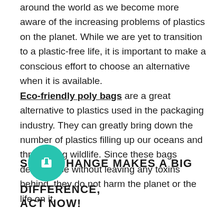around the world as we become more aware of the increasing problems of plastics on the planet. While we are yet to transition to a plastic-free life, it is important to make a conscious effort to choose an alternative when it is available. Eco-friendly poly bags are a great alternative to plastics used in the packaging industry. They can greatly bring down the number of plastics filling up our oceans and threatening wildlife. Since these bags decompose without leaving any toxins behind, they do not harm the planet or the life on it.
SMALL CHANGE MAKES A BIG DIFFERENCE, ACT NOW!